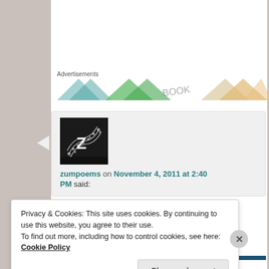Advertisements
[Figure (illustration): Colorful geometric triangles banner advertisement with text 'BOOK']
[Figure (illustration): User avatar: dark fractal/DNA-like image with letter Z overlay]
zumpoems on November 4, 2011 at 2:40 PM said:
Privacy & Cookies: This site uses cookies. By continuing to use this website, you agree to their use.
To find out more, including how to control cookies, see here: Cookie Policy
Close and accept